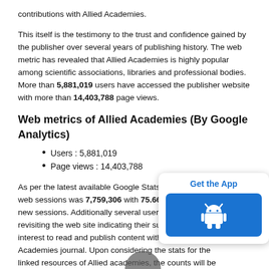contributions with Allied Academies.
This itself is the testimony to the trust and confidence gained by the publisher over several years of publishing history. The web metric has revealed that Allied Academies is highly popular among scientific associations, libraries and professional bodies. More than 5,881,019 users have accessed the publisher website with more than 14,403,788 page views.
Web metrics of Allied Academies (By Google Analytics)
Users : 5,881,019
Page views : 14,403,788
As per the latest available Google Stats, the web sessions was 7,759,306 with 75.66 perce new sessions. Additionally several users are revisiting the web site indicating their sustain interest to read and publish content with Allied Academies journal. Upon considering the stats for the linked resources of Allied academies, the counts will be